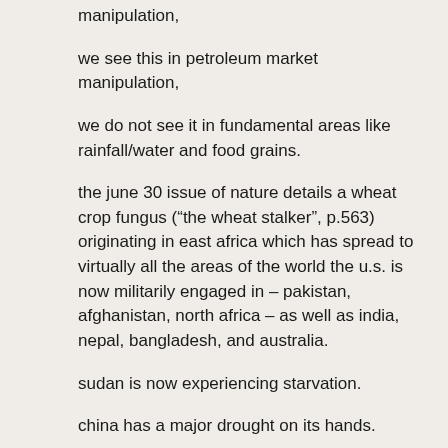manipulation,
we see this in petroleum market manipulation,
we do not see it in fundamental areas like rainfall/water and food grains.
the june 30 issue of nature details a wheat crop fungus (“the wheat stalker”, p.563) originating in east africa which has spread to virtually all the areas of the world the u.s. is now militarily engaged in – pakistan, afghanistan, north africa – as well as india, nepal, bangladesh, and australia.
sudan is now experiencing starvation.
china has a major drought on its hands.